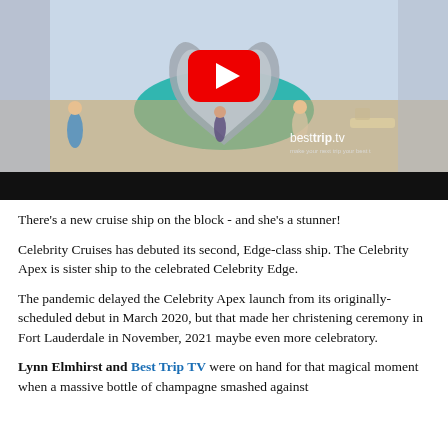[Figure (screenshot): Video thumbnail showing a cruise ship pool deck with a large silver metallic sculpture of two hands forming a heart shape, people around the pool, sunny day. YouTube play button overlay visible in center. BestTrip.tv watermark in lower right. Black bar at bottom of video player.]
There’s a new cruise ship on the block - and she’s a stunner!
Celebrity Cruises has debuted its second, Edge-class ship. The Celebrity Apex is sister ship to the celebrated Celebrity Edge.
The pandemic delayed the Celebrity Apex launch from its originally-scheduled debut in March 2020, but that made her christening ceremony in Fort Lauderdale in November, 2021 maybe even more celebratory.
Lynn Elmhirst and Best Trip TV were on hand for that magical moment when a massive bottle of champagne smashed against